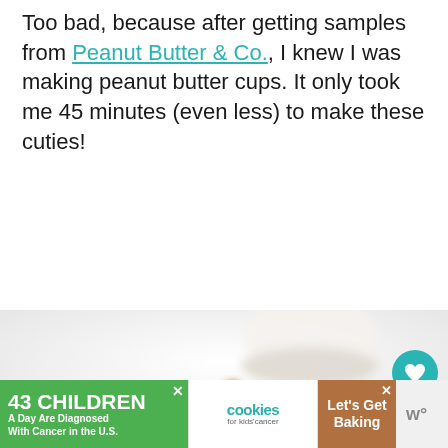Too bad, because after getting samples from Peanut Butter & Co., I knew I was making peanut butter cups. It only took me 45 minutes (even less) to make these cuties!
[Figure (photo): A blurred/depth-of-field photo on a white background showing a white peanut butter cup in the center background, small peanuts in the middle ground, a chocolate chip on the left, and chocolate treats in the foreground. UI elements include a teal heart button, a count of 751, and a share button overlaid on the right side.]
[Figure (screenshot): Advertisement banner: green left section reading '43 CHILDREN A Day Are Diagnosed With Cancer in the U.S.', white middle section with 'cookies for kids cancer' logo, brown right section reading 'Let's Get Baking'. Close X buttons visible. Additional small logo at far right.]